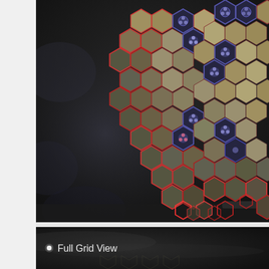[Figure (screenshot): Top screenshot showing a hexagonal grid pattern from a video game. Dark background with hexagonal tiles arranged in a cluster — tan/beige hexagons forming the main grid, with some dark hexagons with purple flower-like icons, and red/pink glowing outlines on select hexagons. The cluster tapers at the bottom into scattered individual hexagons.]
[Figure (screenshot): Bottom screenshot showing the beginning of a 'Full Grid View' label in white text with a small white dot bullet, set against a dark blurred background with a faint hexagonal grid partially visible.]